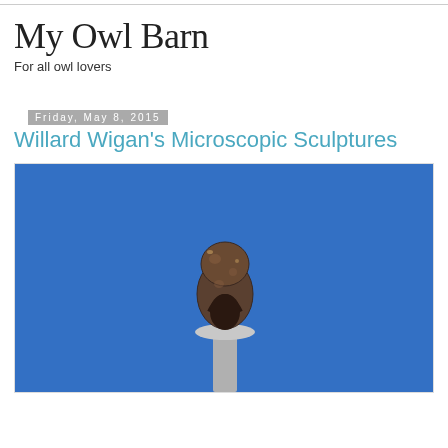My Owl Barn
For all owl lovers
Friday, May 8, 2015
Willard Wigan's Microscopic Sculptures
[Figure (photo): A close-up macro photo of a microscopic sculpture, appearing to be a small dark metallic figure on a needle tip or similar surface, set against a bright blue background.]